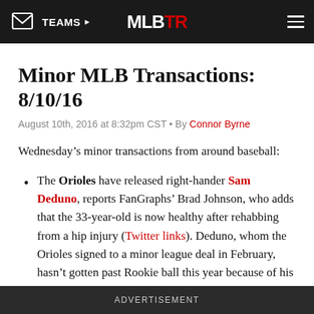TEAMS  MLBTR
Minor MLB Transactions: 8/10/16
August 10th, 2016 at 8:32pm CST • By Connor Byrne
Wednesday's minor transactions from around baseball:
The Orioles have released right-hander Sam Deduno, reports FanGraphs' Brad Johnson, who adds that the 33-year-old is now healthy after rehabbing from a hip injury (Twitter links). Deduno, whom the Orioles signed to a minor league deal in February, hasn't gotten past Rookie ball this year because of his hip
ADVERTISEMENT